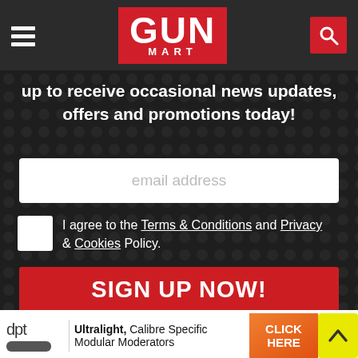[Figure (logo): GUN MART logo in white text on red background, with hamburger menu icon and search icon on dark navigation bar]
up to receive occasional news updates, offers and promotions today!
[Figure (screenshot): Email address input field with placeholder text 'email address']
I agree to the Terms & Conditions and Privacy & Cookies Policy.
[Figure (screenshot): SIGN UP NOW! button in red]
[Figure (infographic): Advertisement banner: dpt logo, 'Ultralight, Calibre Specific Modular Moderators' text, orange CLICK HERE button, yellow back-to-top arrow button]